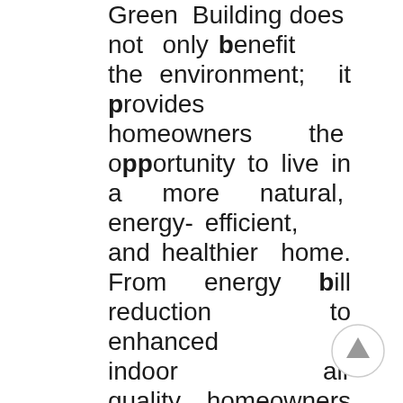Green Building does not only benefit the environment; it provides homeowners the opportunity to live in a more natural, energy-efficient, and healthier home. From energy bill reduction to enhanced indoor air quality, homeowners will realize a wide array of both financial incentives and lifestyle
[Figure (other): A circular button with an upward-pointing arrow icon, light gray border, white background]